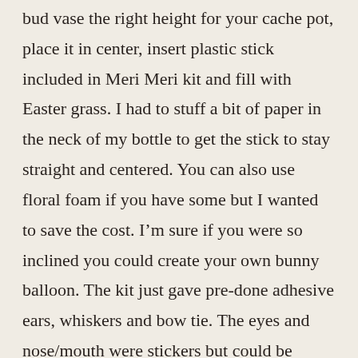bud vase the right height for your cache pot, place it in center, insert plastic stick included in Meri Meri kit and fill with Easter grass.  I had to stuff a bit of paper in the neck of my bottle to get the stick to stay straight and centered.  You can also use floral foam if you have some but I wanted to save the cost. I'm sure if you were so inclined you could create your own bunny balloon.  The kit just gave pre-done adhesive ears, whiskers and bow tie.  The eyes and nose/mouth were stickers but could be drawn on a white balloon and the balloon tied to a thin dowel.  I displayed my antique chocolate molds with this and the Balloon Centerpiece below.  One mold was